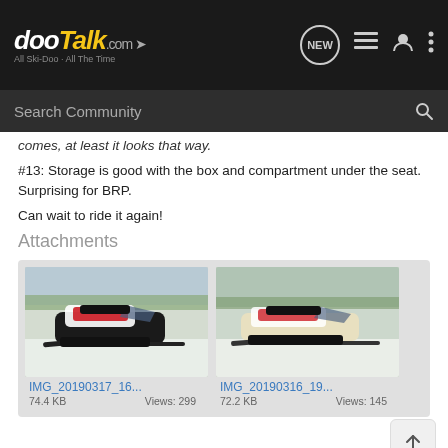dooTalk.com — All Ski-Doo · All The Time
comes, at least it looks that way.
#13: Storage is good with the box and compartment under the seat. Surprising for BRP.
Can wait to ride it again!
Attachments
[Figure (photo): Snowmobile (Ski-Doo) parked in snow with trees in background — IMG_20190317_16...]
IMG_20190317_16... 74.4 KB Views: 299
[Figure (photo): Snowmobile (Ski-Doo) side view on snowy terrain — IMG_20190316_19...]
IMG_20190316_19... 72.2 KB Views: 145